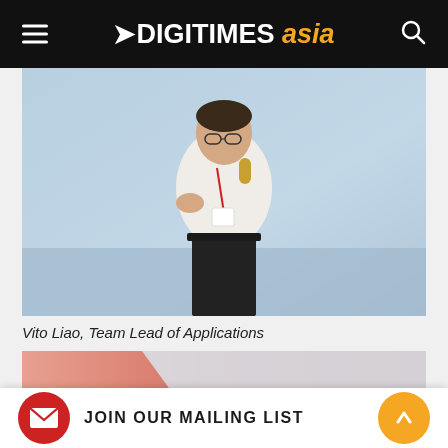DIGITIMES asia
[Figure (photo): Vito Liao, Team Lead of Applications, speaking at a conference stage holding a microphone, wearing glasses and a white shirt with a lanyard badge, against a blue digital world map background.]
Vito Liao, Team Lead of Applications
[Figure (photo): Partially visible photo of a man wearing glasses, against a pink/salmon gradient background, cropped at bottom of page.]
JOIN OUR MAILING LIST